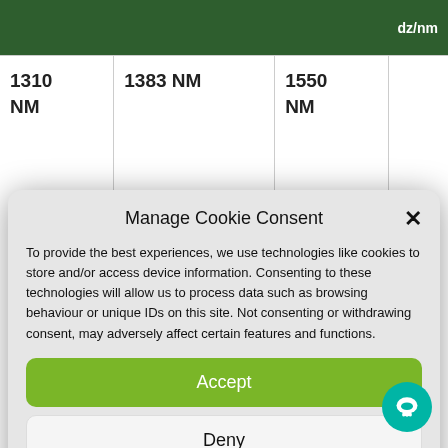| 1310 NM | 1383 NM | 1550 NM |  |
| --- | --- | --- | --- |
Manage Cookie Consent
To provide the best experiences, we use technologies like cookies to store and/or access device information. Consenting to these technologies will allow us to process data such as browsing behaviour or unique IDs on this site. Not consenting or withdrawing consent, may adversely affect certain features and functions.
Accept
Deny
View preferences
Cookie Policy  Privacy Policy